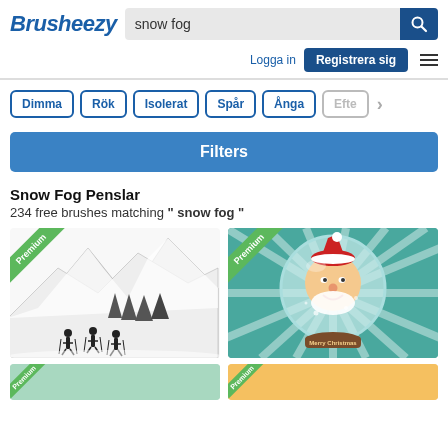[Figure (screenshot): Brusheezy logo in blue italic bold text]
snow fog
Logga in
Registrera sig
Dimma
Rök
Isolerat
Spår
Ånga
Efte
Filters
Snow Fog Penslar
234 free brushes matching " snow fog "
[Figure (illustration): Black and white illustration of skiers on a snowy mountain slope with pine trees, Premium badge]
[Figure (illustration): Colorful snow globe with Santa Claus inside, teal/green background with rays, saying Merry Christmas, Premium badge]